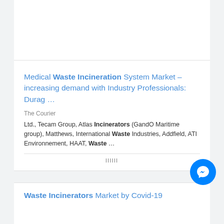Medical Waste Incineration System Market – increasing demand with Industry Professionals: Durag …
The Courier
Ltd., Tecam Group, Atlas Incinerators (GandO Maritime group), Matthews, International Waste Industries, Addfield, ATI Environnement, HAAT, Waste …
Waste Incinerators Market by Covid-19